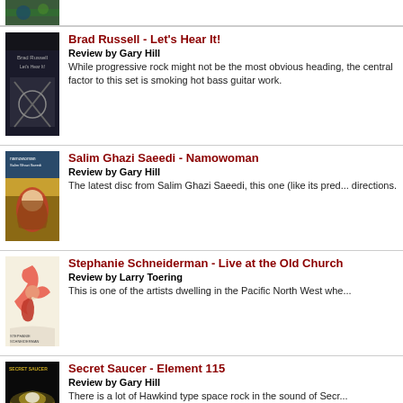[Figure (photo): Partial album art at top of page (cropped)]
Brad Russell - Let's Hear It!
Review by Gary Hill
While progressive rock might not be the most obvious heading, the central factor to this set is smoking hot bass guitar work.
[Figure (photo): Brad Russell - Let's Hear It! album cover]
Salim Ghazi Saeedi - Namowoman
Review by Gary Hill
The latest disc from Salim Ghazi Saeedi, this one (like its predecessors) moves in multiple directions.
[Figure (photo): Salim Ghazi Saeedi - Namowoman album cover]
Stephanie Schneiderman - Live at the Old Church
Review by Larry Toering
This is one of the artists dwelling in the Pacific North West whe...
[Figure (photo): Stephanie Schneiderman - Live at the Old Church album cover]
Secret Saucer - Element 115
Review by Gary Hill
There is a lot of Hawkind type space rock in the sound of Secr...
[Figure (photo): Secret Saucer - Element 115 album cover]